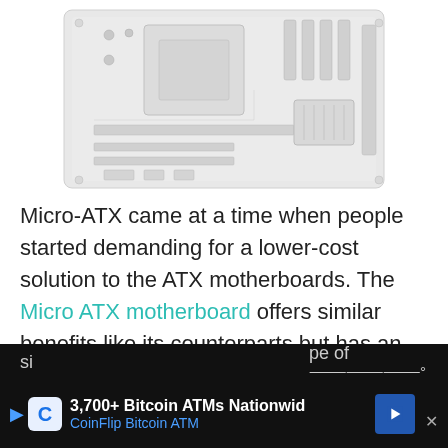[Figure (photo): A blurred/faded image of a Micro-ATX motherboard showing circuit board components, slots, and connectors against a white background.]
Micro-ATX came at a time when people started demanding for a lower-cost solution to the ATX motherboards. The Micro ATX motherboard offers similar benefits like its counterparts but has an improved design. The size of the board is also smaller than the Full-sized motherboard that helps in reducing the costs. The smaller
[Figure (other): Advertisement bar: 3,700+ Bitcoin ATMs Nationwid - CoinFlip Bitcoin ATM with navigation arrow icon and close button]